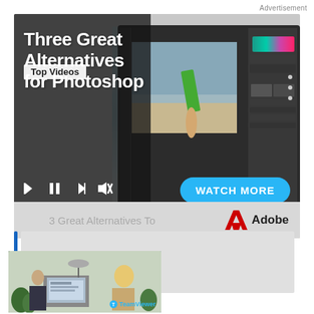Advertisement
[Figure (screenshot): Video player showing 'Three Great Alternatives for Photoshop' with beach scene, Photoshop UI on laptop, media controls, Watch More button, Adobe logo, and Top Videos badge]
[Figure (screenshot): TeamViewer thumbnail showing office workers at computer]